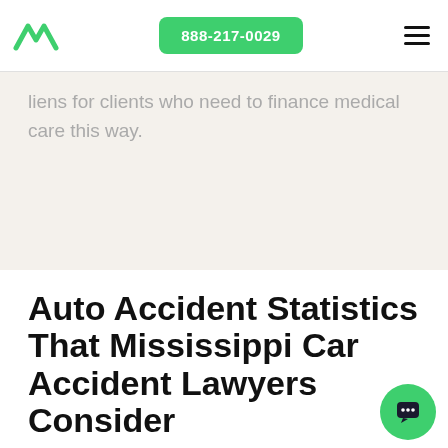888-217-0029
liens for clients who need to finance medical care this way.
Auto Accident Statistics That Mississippi Car Accident Lawyers Consider
If you’ve been in a crash, rest assured that you are far from alone. Here are the most recently available statistics for auto accidents in Mississippi: